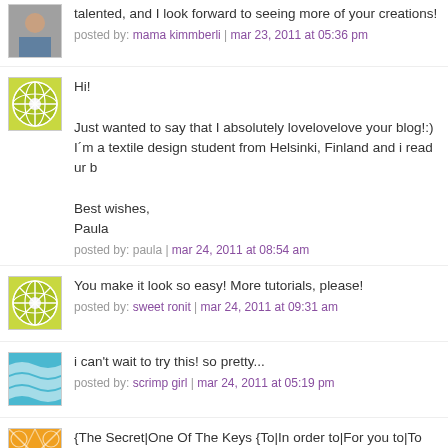...absolutely love your creativity! When I saw the features, I thought talented, and I look forward to seeing more of your creations!
posted by: mama kimmberli | mar 23, 2011 at 05:36 pm
[Figure (illustration): Green floral/starburst pattern avatar]
Hi!

Just wanted to say that I absolutely lovelovelove your blog!:)
I'm a textile design student from Helsinki, Finland and i read ur b

Best wishes,
Paula
posted by: paula | mar 24, 2011 at 08:54 am
[Figure (illustration): Green floral/starburst pattern avatar]
You make it look so easy! More tutorials, please!
posted by: sweet ronit | mar 24, 2011 at 09:31 am
[Figure (illustration): Blue wavy stripes avatar]
i can't wait to try this! so pretty...
posted by: scrimp girl | mar 24, 2011 at 05:19 pm
[Figure (illustration): Orange geometric pattern avatar]
{The Secret|One Of The Keys {To|In order to|For you to|To help totally|On the way to|When you need to}} rule the moncler-arena